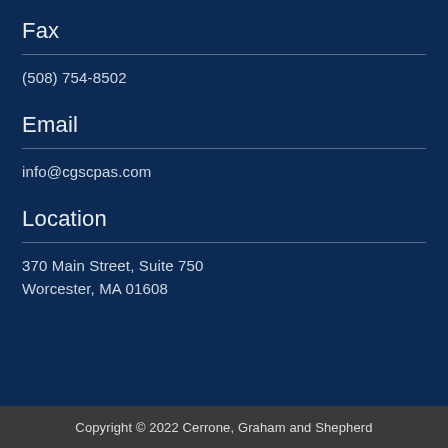Fax
(508) 754-8502
Email
info@cgscpas.com
Location
370 Main Street, Suite 750
Worcester, MA 01608
Copyright © 2022 Cerrone, Graham and Shepherd